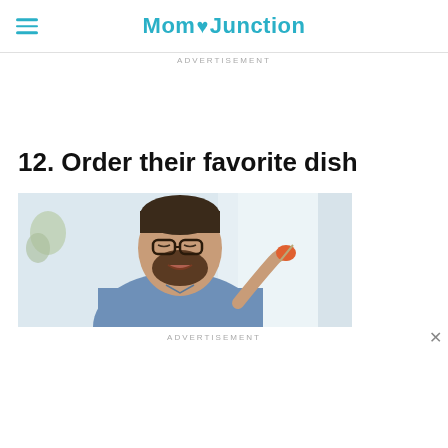MomJunction
ADVERTISEMENT
12. Order their favorite dish
[Figure (photo): A man with glasses and a beard eating food, wearing a blue denim shirt, bright background with window light]
ADVERTISEMENT